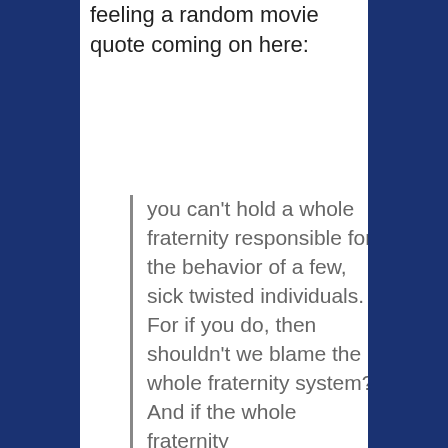feeling a random movie quote coming on here:
you can't hold a whole fraternity responsible for the behavior of a few, sick twisted individuals. For if you do, then shouldn't we blame the whole fraternity system? And if the whole fraternity